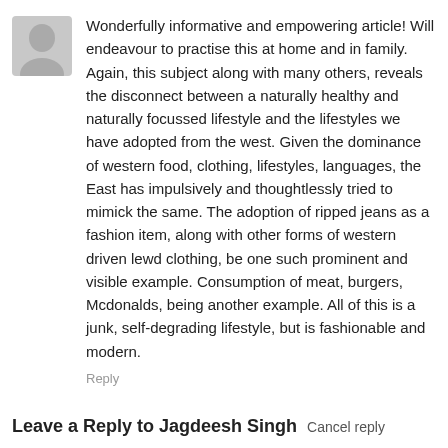[Figure (illustration): Grey placeholder avatar/profile icon silhouette on grey background]
Wonderfully informative and empowering article! Will endeavour to practise this at home and in family. Again, this subject along with many others, reveals the disconnect between a naturally healthy and naturally focussed lifestyle and the lifestyles we have adopted from the west. Given the dominance of western food, clothing, lifestyles, languages, the East has impulsively and thoughtlessly tried to mimick the same. The adoption of ripped jeans as a fashion item, along with other forms of western driven lewd clothing, be one such prominent and visible example. Consumption of meat, burgers, Mcdonalds, being another example. All of this is a junk, self-degrading lifestyle, but is fashionable and modern.
Reply
Leave a Reply to Jagdeesh Singh   Cancel reply
Comment: